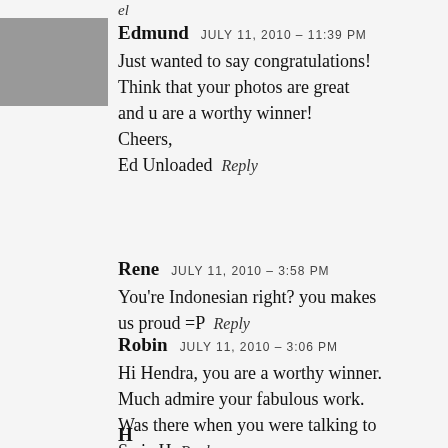el
Edmund   JULY 11, 2010 - 11:39 PM
Just wanted to say congratulations! Think that your photos are great and u are a worthy winner!
Cheers,
Ed Unloaded  Reply
Rene   JULY 11, 2010 - 3:58 PM
You're Indonesian right? you makes us proud =P  Reply
Robin   JULY 11, 2010 - 3:06 PM
Hi Hendra, you are a worthy winner. Much admire your fabulous work. Was there when you were talking to Swie H  Reply